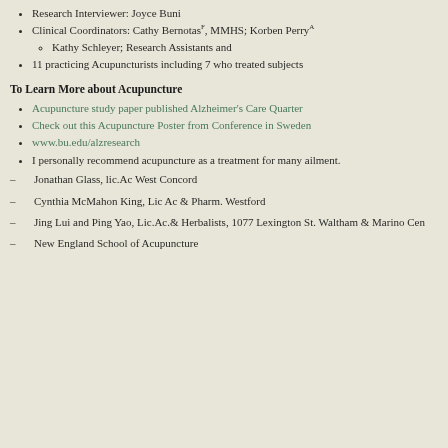Research Interviewer: Joyce Buni
Clinical Coordinators: Cathy BernotasF, MMHS; Korben PerryA
Kathy Schleyer; Research Assistants and
11 practicing Acupuncturists including 7 who treated subjects
To Learn More about Acupuncture
Acupuncture study paper published Alzheimer's Care Quarter
Check out this Acupuncture Poster from Conference in Sweden
www.bu.edu/alzresearch
I personally recommend acupuncture as a treatment for many ailment.
– Jonathan Glass, lic.Ac  West Concord
– Cynthia McMahon King, Lic Ac & Pharm. Westford
– Jing Lui and Ping Yao, Lic.Ac.& Herbalists, 1077 Lexington St. Waltham & Marino Cen
– New England School of Acupuncture